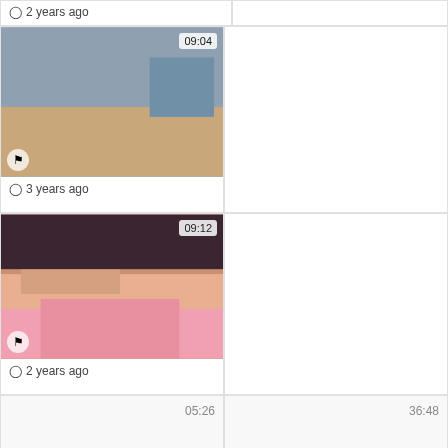2 years ago
[Figure (photo): Video thumbnail showing woman, duration 09:04]
3 years ago
[Figure (photo): Blank right column card]
[Figure (photo): Video thumbnail showing woman in pink, duration 09:12]
2 years ago
[Figure (photo): Blank right column card]
[Figure (photo): Blank left card with duration 05:26]
[Figure (photo): Blank right card with duration 36:48]